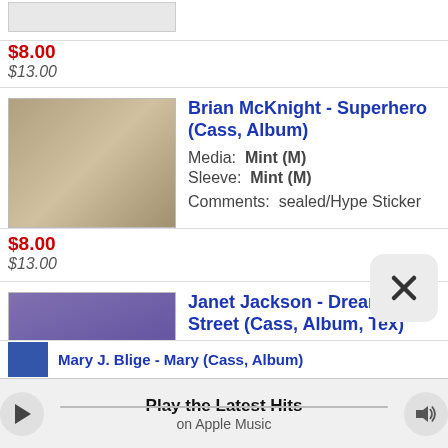$8.00
$13.00
Brian McKnight - Superhero (Cass, Album)
Media: Mint (M)
Sleeve: Mint (M)
Comments: sealed/Hype Sticker
$8.00
$13.00
Janet Jackson - Dream Street (Cass, Album, Tex)
Media: Mint (M)
Sleeve: Mint (M)
Comments: Sealed
$30.00
$35.00
Mary J. Blige - Mary (Cass, Album)
Play the Latest Hits
on Apple Music